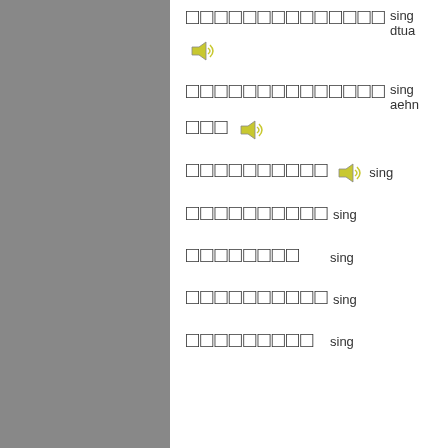Thai word entry 1 with audio icon, romanization: sing dtua
Thai word entry 2 with audio icon, romanization: sing aehn
Thai word entry 3 with audio icon, romanization: sing
Thai word entry 4, romanization: sing
Thai word entry 5, romanization: sing
Thai word entry 6, romanization: sing
Thai word entry 7, romanization: sing